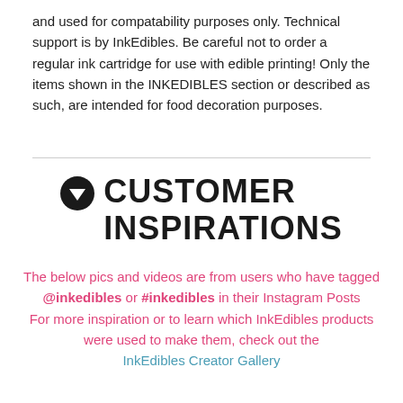and used for compatability purposes only. Technical support is by InkEdibles. Be careful not to order a regular ink cartridge for use with edible printing! Only the items shown in the INKEDIBLES section or described as such, are intended for food decoration purposes.
CUSTOMER INSPIRATIONS
The below pics and videos are from users who have tagged @inkedibles or #inkedibles in their Instagram Posts
For more inspiration or to learn which InkEdibles products were used to make them, check out the InkEdibles Creator Gallery